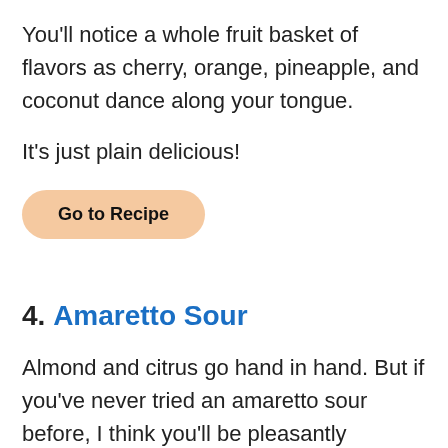You'll notice a whole fruit basket of flavors as cherry, orange, pineapple, and coconut dance along your tongue.
It's just plain delicious!
Go to Recipe
4. Amaretto Sour
Almond and citrus go hand in hand. But if you've never tried an amaretto sour before, I think you'll be pleasantly surprised with